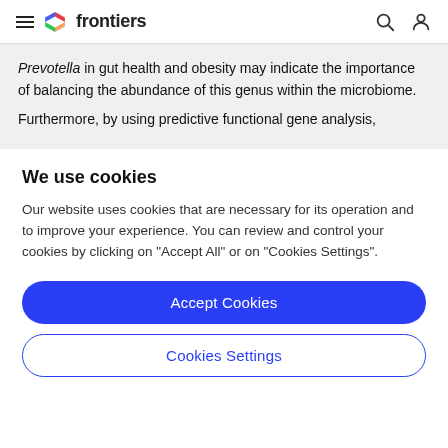frontiers
Prevotella in gut health and obesity may indicate the importance of balancing the abundance of this genus within the microbiome.
Furthermore, by using predictive functional gene analysis,
We use cookies
Our website uses cookies that are necessary for its operation and to improve your experience. You can review and control your cookies by clicking on "Accept All" or on "Cookies Settings".
Accept Cookies
Cookies Settings